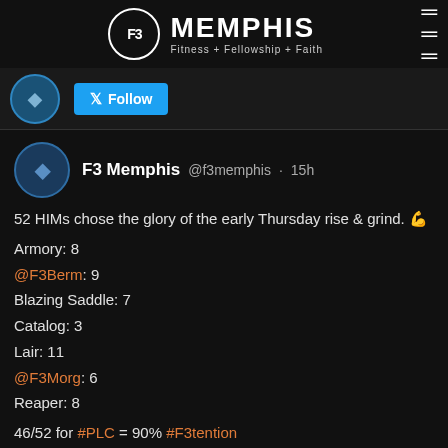F3 Memphis - Fitness + Fellowship + Faith
[Figure (logo): F3 Memphis logo with circle F3 emblem and text MEMPHIS Fitness + Fellowship + Faith]
Follow
F3 Memphis @f3memphis · 15h
52 HIMs chose the glory of the early Thursday rise & grind. 💪

Armory: 8
@F3Berm: 9
Blazing Saddle: 7
Catalog: 3
Lair: 11
@F3Morg: 6
Reaper: 8

46/52 for #PLC = 90% #F3tention

#F3counts #MemphisMojo #MemphisRules